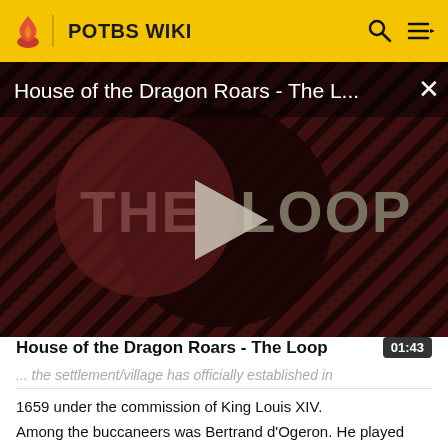POTBS WIKI
[Figure (screenshot): Video thumbnail for 'House of the Dragon Roars - The Loop' showing THE LOOP logo with diagonal striped background and a play button in center. Duration: 01:43]
House of the Dragon Roars - The Loop
... the settlement/village has officially established in 1659 under the commission of King Louis XIV.
Among the buccaneers was Bertrand d'Ogeron. He played